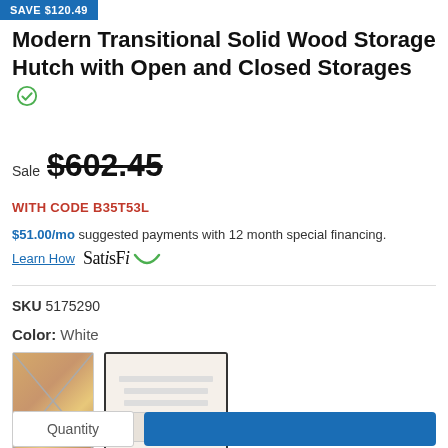SAVE $120.49
Modern Transitional Solid Wood Storage Hutch with Open and Closed Storages
Sale $602.45
WITH CODE B35T53L
$51.00/mo suggested payments with 12 month special financing.
Learn How  SatisFi
SKU 5175290
Color: White
[Figure (photo): Two color swatches for a hutch: natural wood (crossed out/unavailable) and white (selected, with border)]